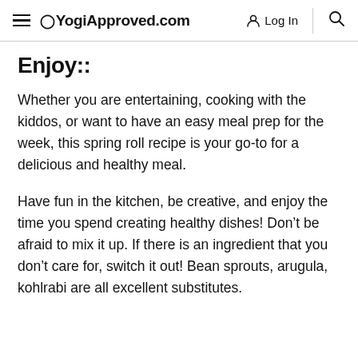YogiApproved.com  Log In
Enjoy!!
Whether you are entertaining, cooking with the kiddos, or want to have an easy meal prep for the week, this spring roll recipe is your go-to for a delicious and healthy meal.
Have fun in the kitchen, be creative, and enjoy the time you spend creating healthy dishes! Don’t be afraid to mix it up. If there is an ingredient that you don’t care for, switch it out! Bean sprouts, arugula, kohlrabi are all excellent substitutes.